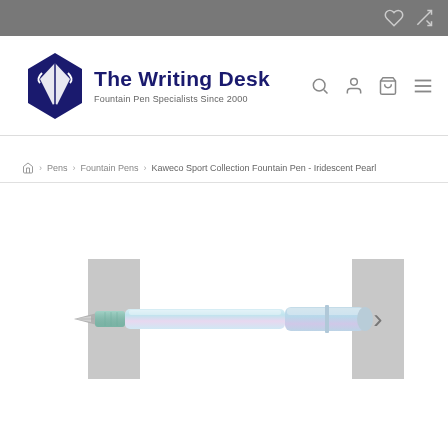The Writing Desk - Fountain Pen Specialists Since 2000
Pens > Fountain Pens > Kaweco Sport Collection Fountain Pen - Iridescent Pearl
[Figure (photo): Kaweco Sport Collection Fountain Pen in Iridescent Pearl color, shown horizontally with carousel navigation arrows on left and right sides]